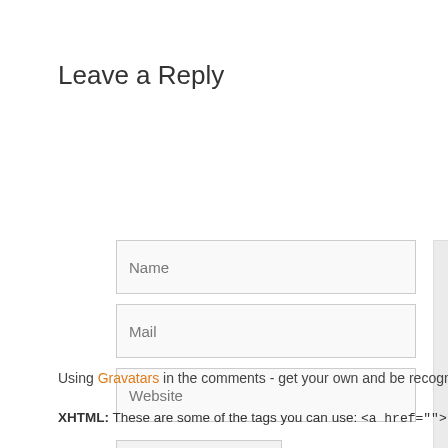Leave a Reply
[Figure (screenshot): Web comment form with Name, Mail, Website input fields, a large textarea area on the right, and a Submit Comment button]
Using Gravatars in the comments - get your own and be recognized!
XHTML: These are some of the tags you can use: <a href=""> <b> <